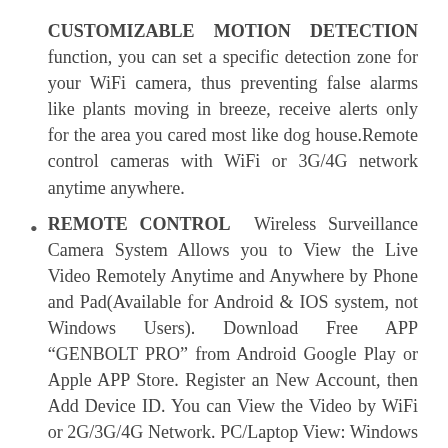CUSTOMIZABLE MOTION DETECTION function, you can set a specific detection zone for your WiFi camera, thus preventing false alarms like plants moving in breeze, receive alerts only for the area you cared most like dog house.Remote control cameras with WiFi or 3G/4G network anytime anywhere.
REMOTE CONTROL  Wireless Surveillance Camera System Allows you to View the Live Video Remotely Anytime and Anywhere by Phone and Pad(Available for Android & IOS system, not Windows Users). Download Free APP “GENBOLT PRO” from Android Google Play or Apple APP Store. Register an New Account, then Add Device ID. You can View the Video by WiFi or 2G/3G/4G Network. PC/Laptop View: Windows System: CMS Software. MAC system: MAC CMS Software.(Please Send E-mail to us@genbolt.com)